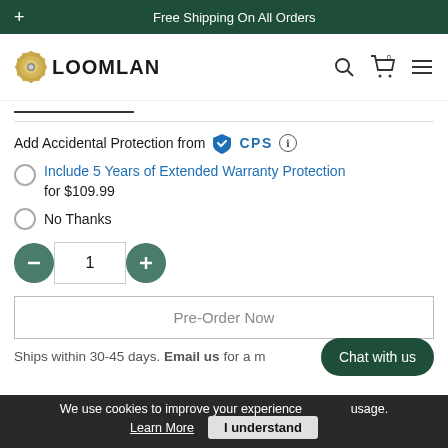+ Free Shipping On All Orders
[Figure (logo): LOOMLAN logo with gear icon]
Add Accidental Protection from CPS (ℹ)
Include 5 Years of Extended Warranty Protection for $109.99
No Thanks
1 (quantity selector with minus and plus buttons)
Pre-Order Now
Ships within 30-45 days. Email us for a ...
Chat with us
We use cookies to improve your experience ... usage. Learn More  I understand